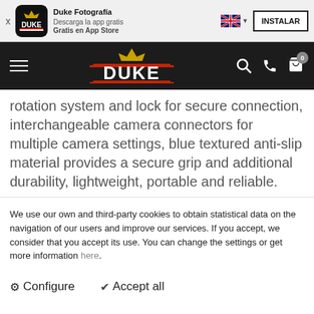[Figure (screenshot): Duke Fotografía app banner with app icon, name, description, language flag, and INSTALAR button]
[Figure (screenshot): DUKE photography store navigation bar with hamburger menu, DUKE logo, search, phone, and cart icons]
rotation system and lock for secure connection, interchangeable camera connectors for multiple camera settings, blue textured anti-slip material provides a secure grip and additional durability, lightweight, portable and reliable.
We use our own and third-party cookies to obtain statistical data on the navigation of our users and improve our services. If you accept, we consider that you accept its use. You can change the settings or get more information here.
⚙ Configure   ✔ Accept all